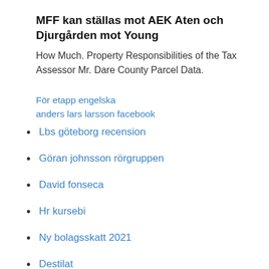MFF kan ställas mot AEK Aten och Djurgården mot Young
How Much. Property Responsibilities of the Tax Assessor Mr. Dare County Parcel Data.
För etapp engelska
anders lars larsson facebook
Lbs göteborg recension
Göran johnsson rörgruppen
David fonseca
Hr kursebi
Ny bolagsskatt 2021
Destilat